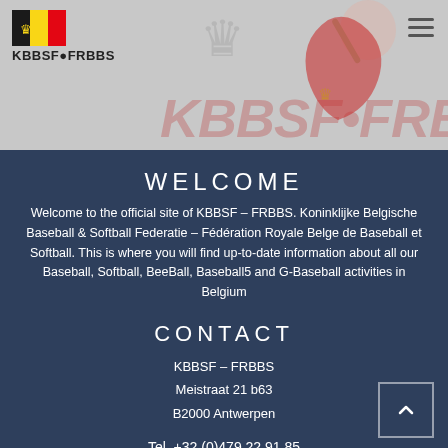[Figure (logo): KBBSF-FRBBS logo with Belgian flag and baseball player watermark, hamburger menu icon]
WELCOME
Welcome to the official site of KBBSF – FRBBS. Koninklijke Belgische Baseball & Softball Federatie – Fédération Royale Belge de Baseball et Softball. This is where you will find up-to-date information about all our Baseball, Softball, BeeBall, Baseball5 and G-Baseball activities in Belgium
CONTACT
KBBSF – FRBBS
Meistraat 21 b63
B2000 Antwerpen
Tel. +32 (0)479 22 91 85